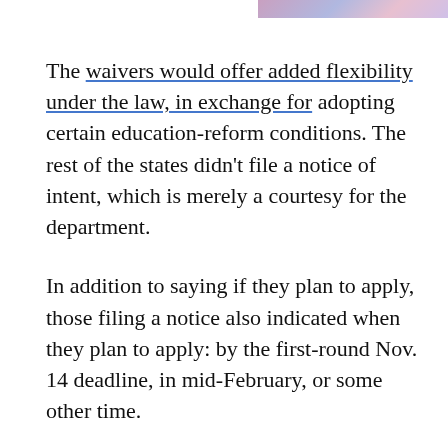[Figure (photo): Partial image strip visible at top right corner of the page]
The waivers would offer added flexibility under the law, in exchange for adopting certain education-reform conditions. The rest of the states didn't file a notice of intent, which is merely a courtesy for the department.
In addition to saying if they plan to apply, those filing a notice also indicated when they plan to apply: by the first-round Nov. 14 deadline, in mid-February, or some other time.
These are the 17 early-birds that say they plan to apply by Nov. 14: Colorado, Florida, Georgia, Indiana, Kentucky, Massachusetts, Michigan, Minnesota, Mississippi, New Jersey, New Mexico, North Carolina, North Dakota, Oklahoma, Tennessee, Vermont and Wisconsin.